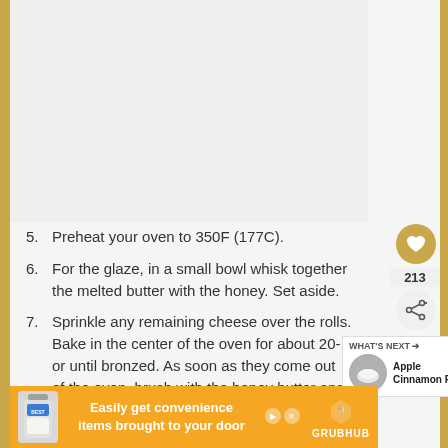[Figure (photo): Light grey/white rectangle placeholder image area at the top of the page]
5. Preheat your oven to 350F (177C).
6. For the glaze, in a small bowl whisk together the melted butter with the honey. Set aside.
7. Sprinkle any remaining cheese over the rolls. Bake in the center of the oven for about 20-[...] or until bronzed. As soon as they come out of the oven, brush with the honey butter and sprinkle
[Figure (screenshot): Grubhub advertisement banner at the bottom: orange background with Hellmann's mayo image, text 'Easily get convenience items brought to your door', Grubhub logo]
[Figure (infographic): Sidebar UI elements: heart/favorite button (gold circle), 213 count, share button, 'WHAT'S NEXT' promo with Apple Cinnamon R... thumbnail]